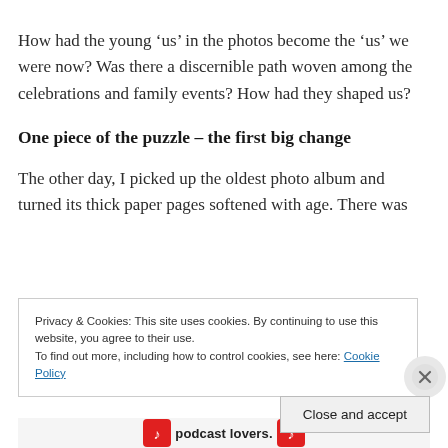How had the young ‘us’ in the photos become the ‘us’ we were now? Was there a discernible path woven among the celebrations and family events? How had they shaped us?
One piece of the puzzle – the first big change
The other day, I picked up the oldest photo album and turned its thick paper pages softened with age. There was
Privacy & Cookies: This site uses cookies. By continuing to use this website, you agree to their use.
To find out more, including how to control cookies, see here: Cookie Policy
Close and accept
podcast lovers.